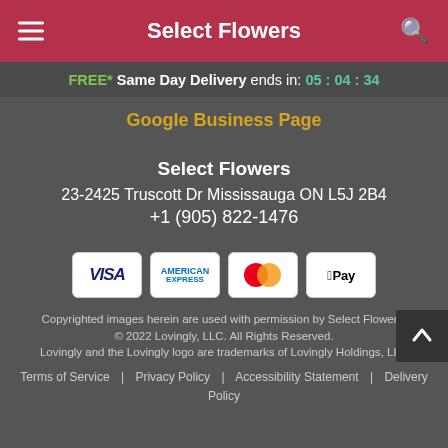Select Flowers
FREE* Same Day Delivery ends in: 05 : 04 : 34
Google Business Page
Select Flowers
23-2425 Truscott Dr Mississauga ON L5J 2B4
+1 (905) 822-1476
[Figure (other): Payment method icons: Visa, American Express, Mastercard, Apple Pay]
Copyrighted images herein are used with permission by Select Flowers.
© 2022 Lovingly, LLC. All Rights Reserved.
Lovingly and the Lovingly logo are trademarks of Lovingly Holdings, LLC
Terms of Service | Privacy Policy | Accessibility Statement | Delivery Policy